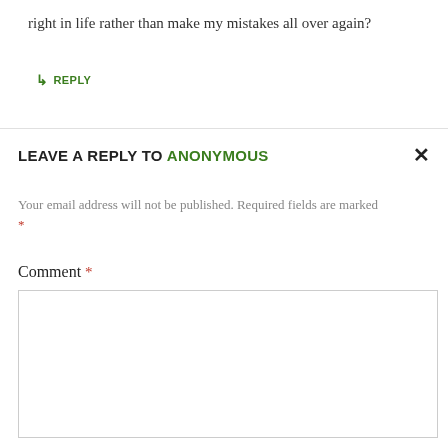right in life rather than make my mistakes all over again?
↳ REPLY
LEAVE A REPLY TO ANONYMOUS ×
Your email address will not be published. Required fields are marked *
Comment *